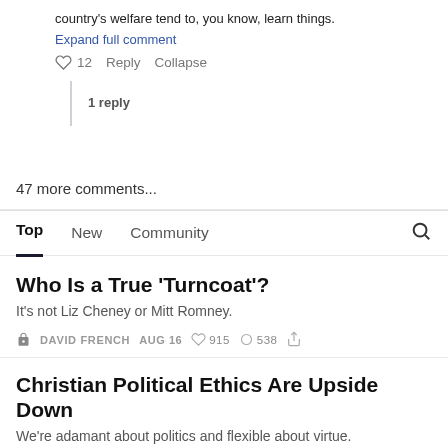country's welfare tend to, you know, learn things.
Expand full comment
♡ 12  Reply  Collapse
1 reply
47 more comments...
Top  New  Community
Who Is a True 'Turncoat'?
It's not Liz Cheney or Mitt Romney.
DAVID FRENCH  AUG 16  ♡ 915  ○ 538
Christian Political Ethics Are Upside Down
We're adamant about politics and flexible about virtue.